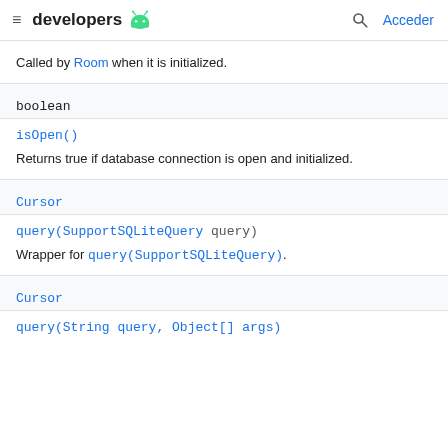developers [android logo] [search] Acceder
Called by Room when it is initialized.
boolean
isOpen()
Returns true if database connection is open and initialized.
Cursor
query(SupportSQLiteQuery query)
Wrapper for query(SupportSQLiteQuery).
Cursor
query(String query, Object[] args)